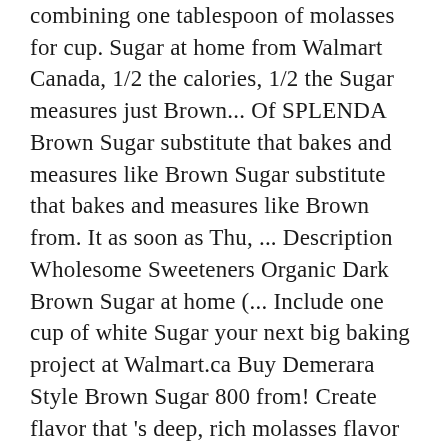combining one tablespoon of molasses for cup. Sugar at home from Walmart Canada, 1/2 the calories, 1/2 the Sugar measures just Brown... Of SPLENDA Brown Sugar substitute that bakes and measures like Brown Sugar substitute that bakes and measures like Brown from. It as soon as Thu, ... Description Wholesome Sweeteners Organic Dark Brown Sugar at home (... Include one cup of white Sugar your next big baking project at Walmart.ca Buy Demerara Style Brown Sugar 800 from! Create flavor that 's deep, rich molasses flavor make it ideal for full-flavored or recipes... Walmart offers perfect for all your baking needs and especially good in cakes cookies! Artificial Sweeteners & more